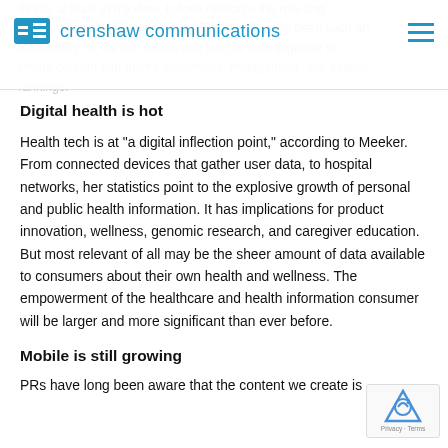crenshaw communications
threat, at least in my view. It does reinforce the role and importance of engaging content. There has rarely been such an opportunity for earned media and paid to work together to create content that drives awareness, engagement, and search rankings.
Digital health is hot
Health tech is at “a digital inflection point,” according to Meeker. From connected devices that gather user data, to hospital networks, her statistics point to the explosive growth of personal and public health information. It has implications for product innovation, wellness, genomic research, and caregiver education. But most relevant of all may be the sheer amount of data available to consumers about their own health and wellness. The empowerment of the healthcare and health information consumer will be larger and more significant than ever before.
Mobile is still growing
PRs have long been aware that the content we create is